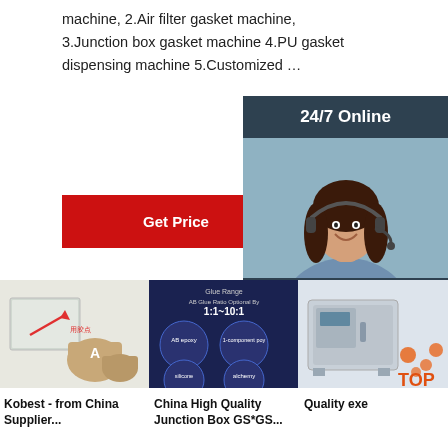machine, 2.Air filter gasket machine, 3.Junction box gasket machine 4.PU gasket dispensing machine 5.Customized …
[Figure (other): Red 'Get Price' button]
[Figure (photo): 24/7 Online banner with female customer service agent wearing headset]
[Figure (other): 'Click here for free chat!' overlay with QUOTATION button]
[Figure (photo): Product image: Kobest epoxy adhesive kit with box and containers labeled A]
Kobest - from China Supplier...
[Figure (photo): China High Quality Junction Box product image showing glue range AB glue ratio 1:1~10:1 with circle images of AB epoxy and other glue types]
China High Quality Junction Box GS*GS...
[Figure (photo): Quality exe machine image with orange TOP label]
Quality exe